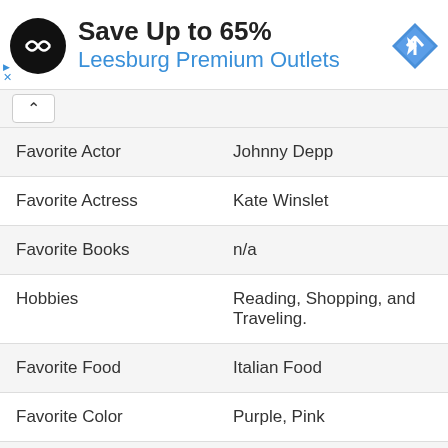[Figure (infographic): Advertisement banner: black circular logo with infinity-like symbol, text 'Save Up to 65%' in bold dark and 'Leesburg Premium Outlets' in blue, blue diamond navigation icon on right, small ad close controls on left bottom]
| Favorite Actor | Johnny Depp |
| Favorite Actress | Kate Winslet |
| Favorite Books | n/a |
| Hobbies | Reading, Shopping, and Traveling. |
| Favorite Food | Italian Food |
| Favorite Color | Purple, Pink |
| Favorite Destination | Miami |
| Favorite Clothing Brands | n/a |